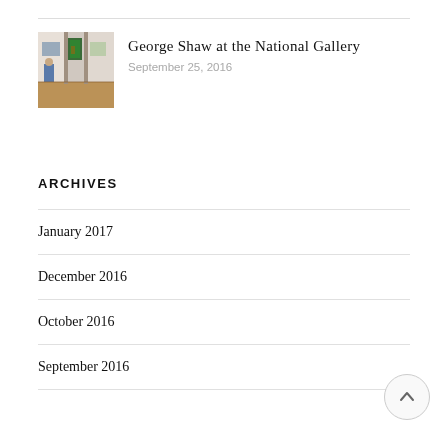[Figure (photo): Thumbnail photo of a gallery interior showing paintings on white walls with a wooden floor; a figure in blue is partially visible]
George Shaw at the National Gallery
September 25, 2016
ARCHIVES
January 2017
December 2016
October 2016
September 2016